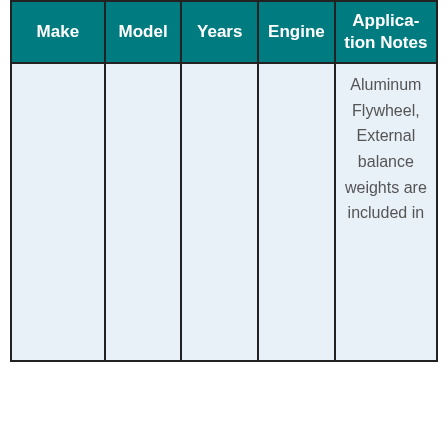| Make | Model | Years | Engine | Application Notes |
| --- | --- | --- | --- | --- |
|  |  |  |  | Aluminum Flywheel, External balance weights are included in |